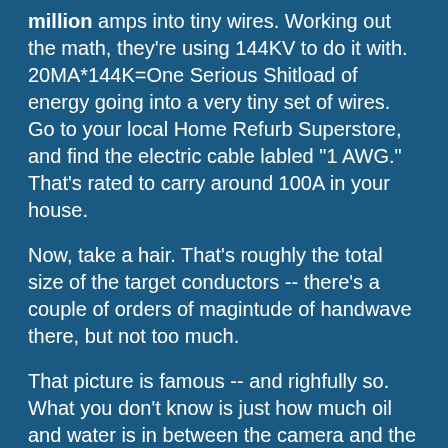million amps into tiny wires. Working out the math, they're using 144KV to do it with. 20MA*144K=One Serious Shitload of energy going into a very tiny set of wires. Go to your local Home Refurb Superstore, and find the electric cable labled "1 AWG." That's rated to carry around 100A in your house.
Now, take a hair. That's roughly the total size of the target conductors -- there's a couple of orders of magintude of handwave there, but not too much.
That picture is famous -- and righfully so. What you don't know is just how much oil and water is in between the camera and the acutal HV parts -- those arcs are the leakage through several feet of low conductivity water and transformer oil.
It really is sort of mad science. "Just how much power can we get out of this thing? What if we do this. ZAP!. That was cool. How about this. ZAP!! Nice."